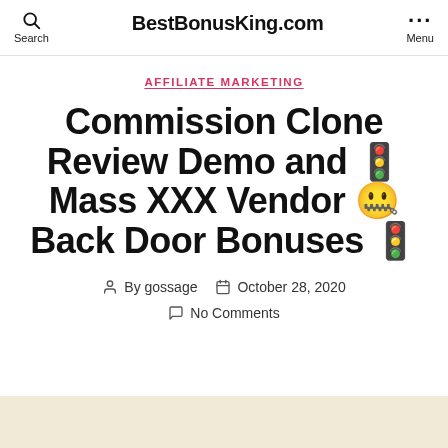Search | BestBonusKing.com | Menu
AFFILIATE MARKETING
Commission Clone Review Demo and 🚦 Mass XXX Vendor 🤐 Back Door Bonuses 🚦
By gossage  October 28, 2020
No Comments